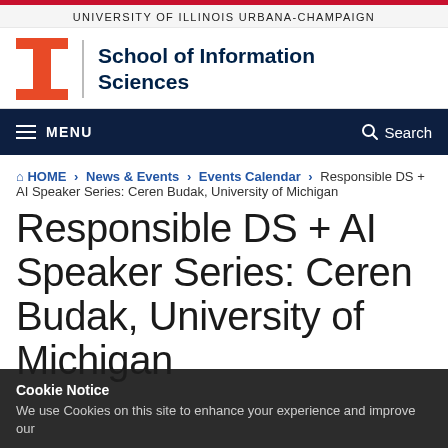UNIVERSITY OF ILLINOIS URBANA-CHAMPAIGN
[Figure (logo): University of Illinois Block I logo in orange, followed by vertical divider and 'School of Information Sciences' text in dark navy bold]
MENU | Search
HOME › News & Events › Events Calendar › Responsible DS + AI Speaker Series: Ceren Budak, University of Michigan
Responsible DS + AI Speaker Series: Ceren Budak, University of Michigan
Cookie Notice
We use Cookies on this site to enhance your experience and improve our